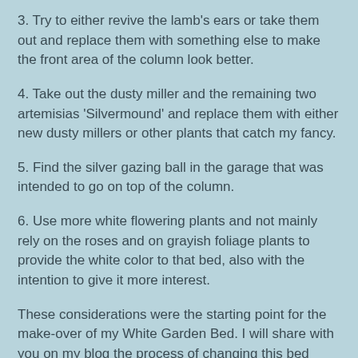3. Try to either revive the lamb's ears or take them out and replace them with something else to make the front area of the column look better.
4. Take out the dusty miller and the remaining two artemisias 'Silvermound' and replace them with either new dusty millers or other plants that catch my fancy.
5. Find the silver gazing ball in the garage that was intended to go on top of the column.
6. Use more white flowering plants and not mainly rely on the roses and on grayish foliage plants to provide the white color to that bed, also with the intention to give it more interest.
These considerations were the starting point for the make-over of my White Garden Bed. I will share with you on my blog the process of changing this bed hopefully to the better in the future. Stay tuned!
See you in the garden!